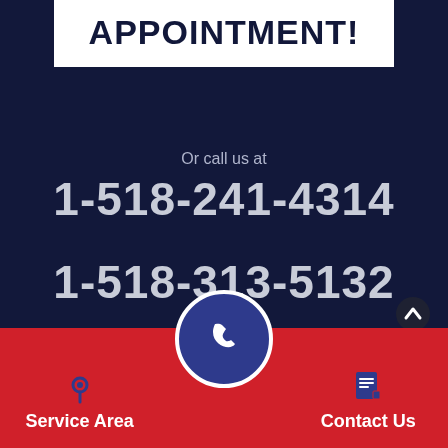APPOINTMENT!
Or call us at
1-518-241-4314
1-518-313-5132
© 2022 Empire State Plumbing
3725 HWY 20
Nassau, NY 12123
Service Area
Contact Us